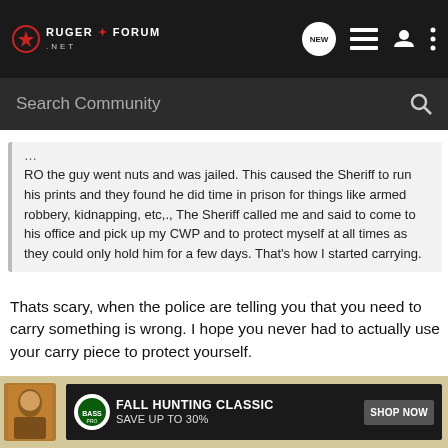RUGER FORUM .NET
Search Community
RO the guy went nuts and was jailed. This caused the Sheriff to run his prints and they found he did time in prison for things like armed robbery, kidnapping, etc,., The Sheriff called me and said to come to his office and pick up my CWP and to protect myself at all times as they could only hold him for a few days. That's how I started carrying.
Thats scary, when the police are telling you that you need to carry something is wrong. I hope you never had to actually use your carry piece to protect yourself.
tpmcman, justMatt, jeepnut711 and 1 other person
[Figure (infographic): Bass Pro Shops Fall Hunting Classic advertisement banner: FALL HUNTING CLASSIC SAVE UP TO 30% SHOP NOW]